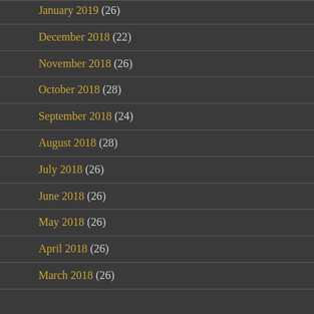January 2019 (26)
December 2018 (22)
November 2018 (26)
October 2018 (28)
September 2018 (24)
August 2018 (28)
July 2018 (26)
June 2018 (26)
May 2018 (26)
April 2018 (26)
March 2018 (26)